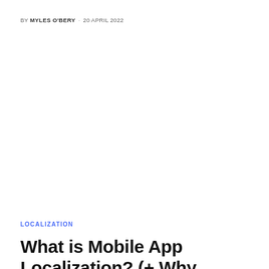BY MYLES O'BERY · 20 APRIL 2022
LOCALIZATION
What is Mobile App Localization? (+ Why